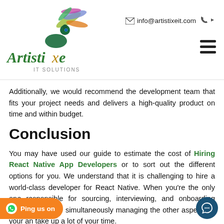Artistixe IT Solutions — info@artistixeit.com
Additionally, we would recommend the development team that fits your project needs and delivers a high-quality product on time and within budget.
Conclusion
You may have used our guide to estimate the cost of Hiring React Native App Developers or to sort out the different options for you. We understand that it is challenging to hire a world-class developer for React Native. When you're the only one responsible for sourcing, interviewing, and onboarding candidates while simultaneously managing the other aspects of your [business, it c]an take up a lot of your time.
s always advisable to hire dedicated